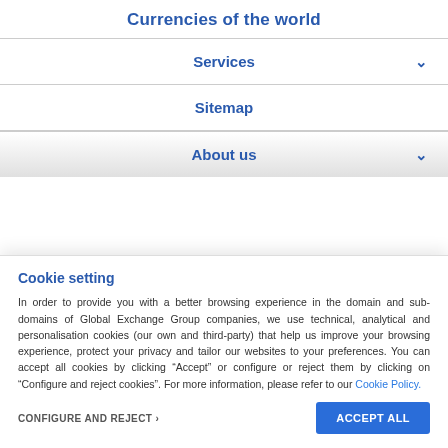Currencies of the world
Services
Sitemap
About us
Cookie setting
In order to provide you with a better browsing experience in the domain and sub-domains of Global Exchange Group companies, we use technical, analytical and personalisation cookies (our own and third-party) that help us improve your browsing experience, protect your privacy and tailor our websites to your preferences. You can accept all cookies by clicking “Accept” or configure or reject them by clicking on “Configure and reject cookies”. For more information, please refer to our Cookie Policy.
CONFIGURE AND REJECT ›
ACCEPT ALL